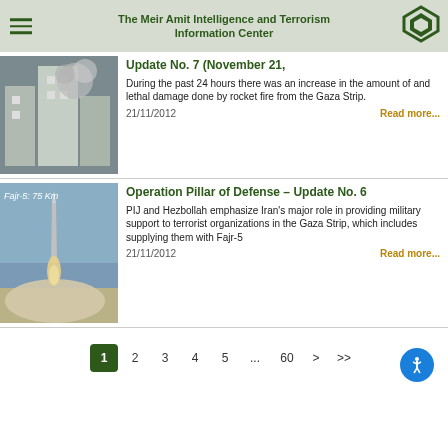The Meir Amit Intelligence and Terrorism Information Center
Update No. 7 (November 21,
During the past 24 hours there was an increase in the amount of and lethal damage done by rocket fire from the Gaza Strip.
21/11/2012
Read more...
[Figure (photo): Photo of building with explosion or fire damage, used in article about rocket fire from Gaza Strip]
Operation Pillar of Defense – Update No. 6
PIJ and Hezbollah emphasize Iran's major role in providing military support to terrorist organizations in the Gaza Strip, which includes supplying them with Fajr-5
21/11/2012
Read more...
[Figure (photo): Photo of missile launch labeled 'Fajr-5: 75 Km', used in article about Operation Pillar of Defense Update No. 6]
1  2  3  4  5  ...  60  >  >>